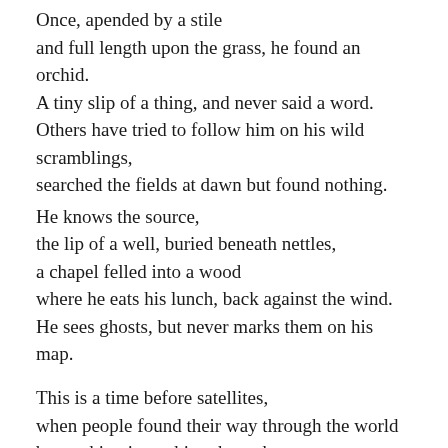Once, apended by a stile
and full length upon the grass, he found an orchid.
A tiny slip of a thing, and never said a word.
Others have tried to follow him on his wild scramblings,
searched the fields at dawn but found nothing.

He knows the source,
the lip of a well, buried beneath nettles,
a chapel felled into a wood
where he eats his lunch, back against the wind.
He sees ghosts, but never marks them on his map.

This is a time before satellites,
when people found their way through the world
by marking it, pushing through
waist high in bracken.
He pushes on and down into the valley
where the green covers his head like the sea.